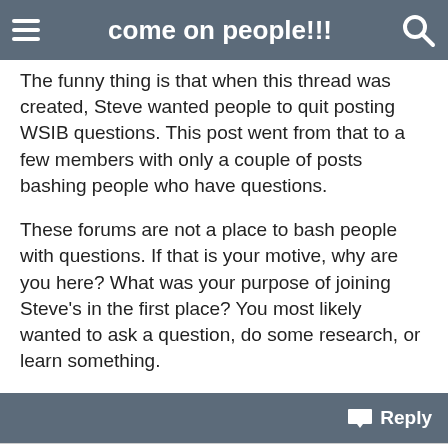come on people!!!
The funny thing is that when this thread was created, Steve wanted people to quit posting WSIB questions. This post went from that to a few members with only a couple of posts bashing people who have questions.

These forums are not a place to bash people with questions. If that is your motive, why are you here? What was your purpose of joining Steve's in the first place? You most likely wanted to ask a question, do some research, or learn something.
Reply
Jul 25, 2004 1:14 AM by jhallgren  #53
For someone like myself who is quite new to this subject/forum, I DID search before posting BUT found it hard to determine WHAT exactly to search for that would